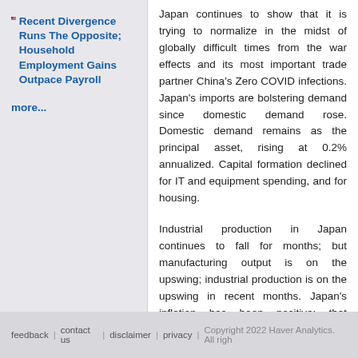Recent Divergence Runs The Opposite; Household Employment Gains Outpace Payroll
more...
Japan continues to show that it is trying to normalize in the midst of globally difficult times from the war effects and its most important trade partner China's Zero COVID infections. Japan's imports are bolstering demand since domestic demand rose. Domestic demand remains as the principal asset, rising at 0.2% annualized. Capital formation declined for IT and equipment spending, and for housing.
Industrial production in Japan continues to fall for months; but manufacturing output is on the upswing; industrial production is on the upswing in recent months. Japan's inflation has been positive; that inflation rate is not normalizing; it has continued continues to be uncertain the global economy is falling back to ever weaker levels. There is strong domestic consumption and a weak yen.
feedback | contact us | disclaimer | privacy | Copyright 2022 Haver Analytics. All rights reserved.